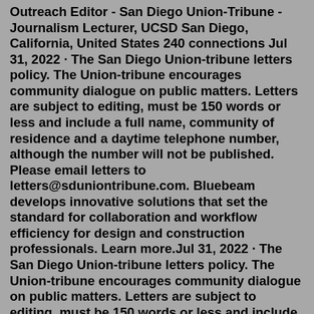Outreach Editor - San Diego Union-Tribune - Journalism Lecturer, UCSD San Diego, California, United States 240 connections Jul 31, 2022 · The San Diego Union-tribune letters policy. The Union-tribune encourages community dialogue on public matters. Letters are subject to editing, must be 150 words or less and include a full name, community of residence and a daytime telephone number, although the number will not be published. Please email letters to letters@sduniontribune.com. Bluebeam develops innovative solutions that set the standard for collaboration and workflow efficiency for design and construction professionals. Learn more.Jul 31, 2022 · The San Diego Union-tribune letters policy. The Union-tribune encourages community dialogue on public matters. Letters are subject to editing, must be 150 words or less and include a full name, community of residence and a daytime telephone number, although the number will not be published. Please email letters to letters@sduniontribune.com. Aug 15,